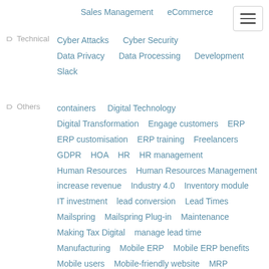Sales Management    eCommerce
Technical: Cyber Attacks    Cyber Security    Data Privacy    Data Processing    Development    Slack
Others: containers    Digital Technology    Digital Transformation    Engage customers    ERP    ERP customisation    ERP training    Freelancers    GDPR    HOA    HR    HR management    Human Resources    Human Resources Management    increase revenue    Industry 4.0    Inventory module    IT investment    lead conversion    Lead Times    Mailspring    Mailspring Plug-in    Maintenance    Making Tax Digital    manage lead time    Manufacturing    Mobile ERP    Mobile ERP benefits    Mobile users    Mobile-friendly website    MRP    News    Odoo    Odoo Accounting    Odoo Accounting Tutorial    Odoo apps    Odoo CRM